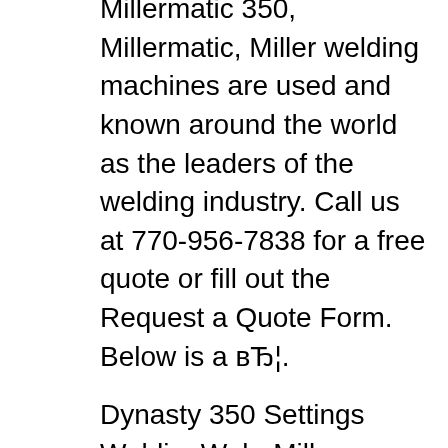Millermatic 350, Millermatic, Miller welding machines are used and known around the world as the leaders of the welding industry. Call us at 770-956-7838 for a free quote or fill out the Request a Quote Form. Below is a вЂ¦.
Dynasty 350 Settings WeldingWeb. Miller Dynasty 400 Complete w/Wireless Foot Control. Upgradeable and Expandable, Auto-Line Power Management Technology, comes with a WP-280 TIG Torch, Dynasty 300 SD, DX And LX distributor or service agency call 1-800-4-A-Miller, or visit us at www.MillerWelds.com on the web. Thank you and congratulations on choosing Miller. Now This OwnerвЂ™s